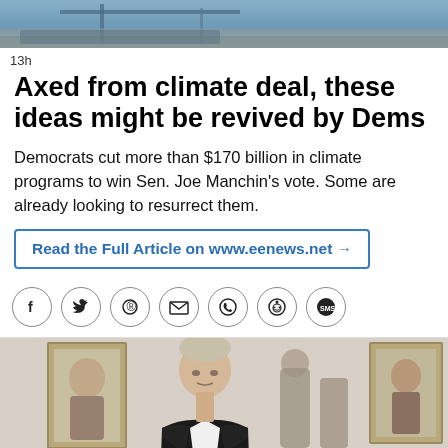[Figure (photo): Header image showing industrial or ship scene with muted blue tones]
13h
Axed from climate deal, these ideas might be revived by Dems
Democrats cut more than $170 billion in climate programs to win Sen. Joe Manchin's vote. Some are already looking to resurrect them.
Read the Full Article on www.eenews.net →
[Figure (photo): Man in black suit standing in a room with framed portraits on the wall behind him]